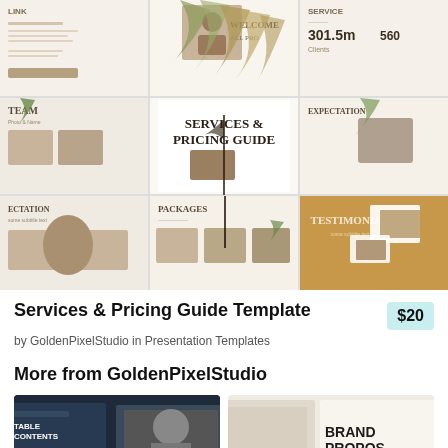[Figure (screenshot): Preview image showing a grid of presentation template slides for a Services & Pricing Guide. The slides show various layouts including a welcome slide with a person at a laptop, decorative botanical elements, a team slide, a services & pricing guide title slide, an expectations slide, a packages slide, and a testimonial slide with a golden/tan background. The overall aesthetic is minimal, warm and earthy.]
Services & Pricing Guide Template
by GoldenPixelStudio in Presentation Templates
$20
More from GoldenPixelStudio
[Figure (screenshot): Thumbnail of a dark navy presentation template with 'TABLE CONTENTS' text visible and a black and white photo]
[Figure (screenshot): Thumbnail of a light beige presentation template with 'BRAND PROPOSAL' text in bold black across the bottom]